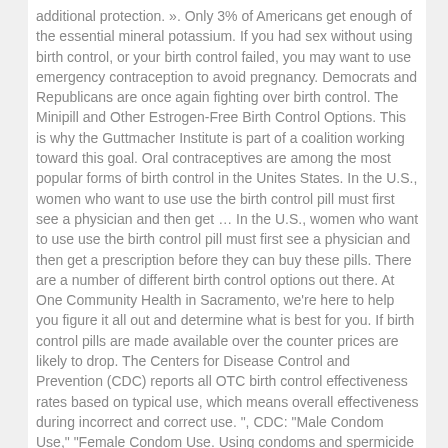additional protection. ». Only 3% of Americans get enough of the essential mineral potassium. If you had sex without using birth control, or your birth control failed, you may want to use emergency contraception to avoid pregnancy. Democrats and Republicans are once again fighting over birth control. The Minipill and Other Estrogen-Free Birth Control Options. This is why the Guttmacher Institute is part of a coalition working toward this goal. Oral contraceptives are among the most popular forms of birth control in the Unites States. In the U.S., women who want to use use the birth control pill must first see a physician and then get … In the U.S., women who want to use use the birth control pill must first see a physician and then get a prescription before they can buy these pills. There are a number of different birth control options out there. At One Community Health in Sacramento, we're here to help you figure it all out and determine what is best for you. If birth control pills are made available over the counter prices are likely to drop. The Centers for Disease Control and Prevention (CDC) reports all OTC birth control effectiveness rates based on typical use, which means overall effectiveness during incorrect and correct use. ", CDC: "Male Condom Use," "Female Condom Use. Using condoms and spermicide together is the most